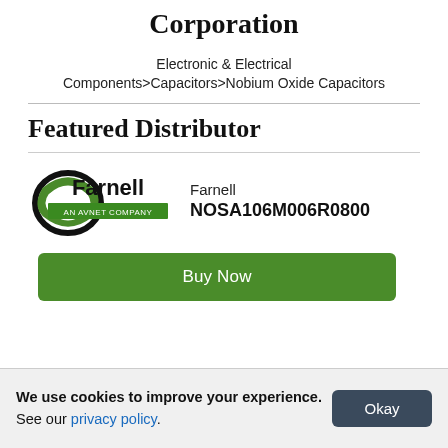…by AVX Corporation
Electronic & Electrical Components>Capacitors>Nobium Oxide Capacitors
Featured Distributor
[Figure (logo): Farnell AN AVNET COMPANY logo with green and black swirl icon]
Farnell NOSA106M006R0800
Buy Now
We use cookies to improve your experience. See our privacy policy.